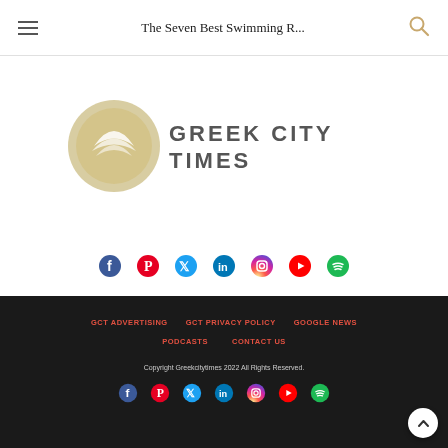The Seven Best Swimming R...
[Figure (logo): Greek City Times logo with stylized leaf/wave emblem and text 'GREEK CITY TIMES']
[Figure (infographic): Social media icons row: Facebook, Pinterest, Twitter, LinkedIn, Instagram, YouTube, Spotify]
GCT ADVERTISING | GCT PRIVACY POLICY | GOOGLE NEWS | PODCASTS | CONTACT US
Copyright Greekcitytimes 2022 All Rights Reserved.
[Figure (infographic): Social media icons row in footer: Facebook, Pinterest, Twitter, LinkedIn, Instagram, YouTube, Spotify]